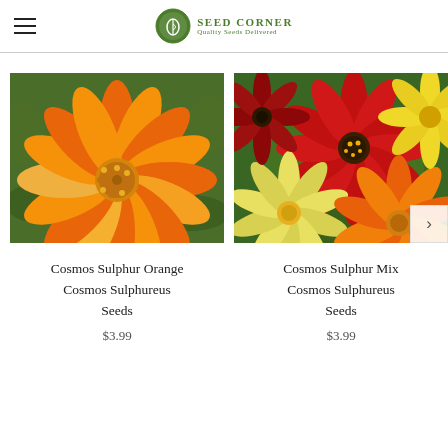Seed Corner
[Figure (photo): Close-up photo of an orange and yellow Cosmos Sulphureus flower with green foliage background]
[Figure (photo): Photo of mixed Cosmos Sulphureus flowers in red, orange, and yellow colors with green foliage]
Cosmos Sulphur Orange Cosmos Sulphureus Seeds
$3.99
Cosmos Sulphur Mix Cosmos Sulphureus Seeds
$3.99